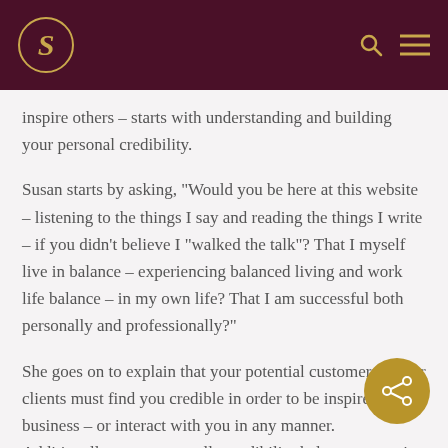S [logo] [search icon] [menu icon]
inspire others – starts with understanding and building your personal credibility.
Susan starts by asking, “Would you be here at this website – listening to the things I say and reading the things I write – if you didn’t believe I “walked the talk”? That I myself live in balance – experiencing balanced living and work life balance – in my own life? That I am successful both personally and professionally?”
She goes on to explain that your potential customers and/or clients must find you credible in order to be inspired to business – or interact with you in any manner. Additionally, your personally credibility helps you to gain confidence